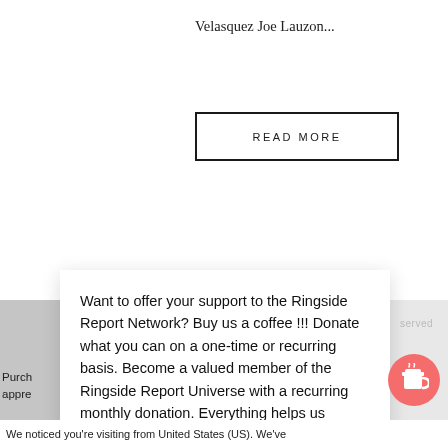Velasquez Joe Lauzon...
READ MORE
Want to offer your support to the Ringside Report Network? Buy us a coffee !!! Donate what you can on a one-time or recurring basis. Become a valued member of the Ringside Report Universe with a recurring monthly donation. Everything helps us sustain and grow!!!
Purch
appre
k gr
served
We noticed you're visiting from United States (US). We've